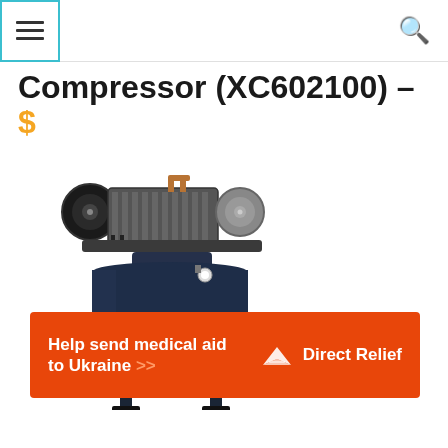[hamburger menu] [search icon]
Compressor (XC602100) – $
[Figure (photo): Campbell Hausfeld vertical air compressor (XC602100) product photo on white background — dark navy blue tank with compressor motor on top and black legs at base, Campbell Hausfeld logo in red on the tank]
[Figure (infographic): Orange advertisement banner: 'Help send medical aid to Ukraine >>' with Direct Relief logo (white bird/envelope icon and 'Direct Relief' text) on the right]